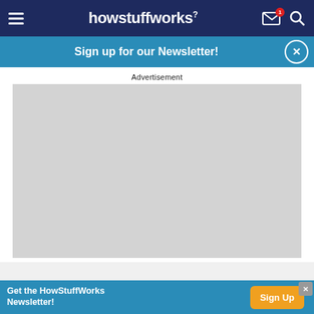howstuffworks
Sign up for our Newsletter!
Advertisement
[Figure (other): Gray advertisement placeholder box]
[Figure (other): Bottom banner: Get the HowStuffWorks Newsletter! with Sign Up button]